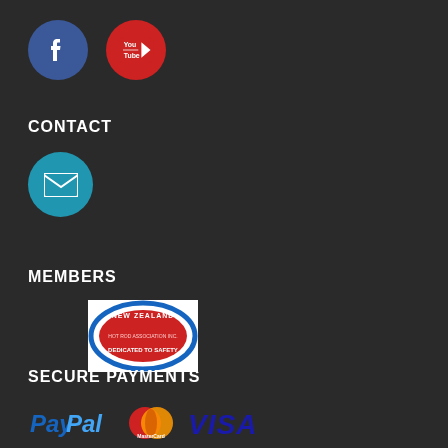[Figure (logo): Facebook circular logo (blue circle with white 'f' letter) and YouTube circular logo (red circle with white 'You' 'Tube' text) social media icons]
CONTACT
[Figure (logo): Email/envelope icon in a blue circle]
MEMBERS
[Figure (logo): New Zealand Hot Rod Association Inc. membership badge logo - oval shape with blue border, red background with car illustration]
SECURE PAYMENTS
[Figure (logo): PayPal logo, MasterCard logo (two overlapping red and orange circles), and VISA logo in blue/gold]